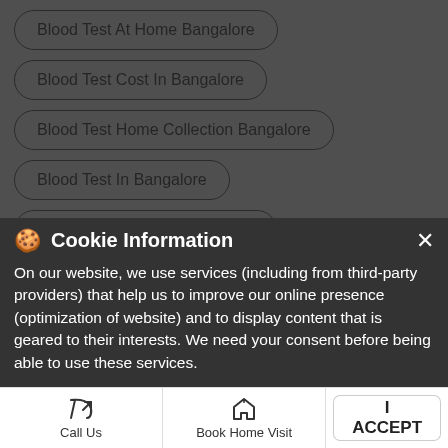Blood Test At Home Bangalore
Blood Test Cost In Bangalore
Blood Test Home Collection Bangalore
Blood Test In Bangalore
Blood Test Offers In Bangalore
Blood Test Online Bangalore
Blood Test Price In Bangalore
Ca 125 Test Cost In Bangalore
CBC Blood Test Cost In Bangalore
Cho Test Cost In Bangalore
[Figure (screenshot): Cookie Information banner overlay on a medical website with text: 'On our website, we use services (including from third-party providers) that help us to improve our online presence (optimization of website) and to display content that is geared to their interests. We need your consent before being able to use these services.' with an I ACCEPT button.]
On our website, we use services (including from third-party providers) that help us to improve our online presence (optimization of website) and to display content that is geared to their interests. We need your consent before being able to use these services.
Call Us
Book Home Visit
Directions